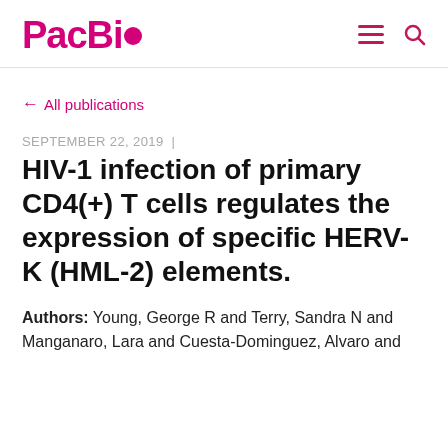PacBio
← All publications
SEPTEMBER 22, 2019 |
HIV-1 infection of primary CD4(+) T cells regulates the expression of specific HERV-K (HML-2) elements.
Authors: Young, George R and Terry, Sandra N and Manganaro, Lara and Cuesta-Dominguez, Alvaro and